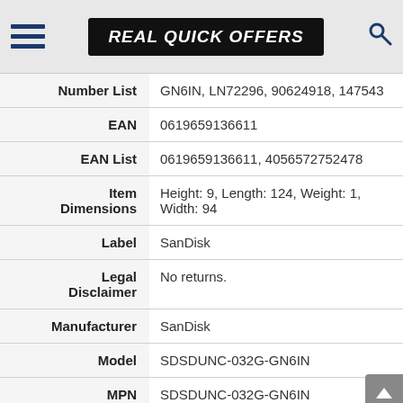REAL QUICK OFFERS
| Field | Value |
| --- | --- |
| Number List | GN6IN, LN72296, 90624918, 147543 |
| EAN | 0619659136611 |
| EAN List | 0619659136611, 4056572752478 |
| Item Dimensions | Height: 9, Length: 124, Weight: 1, Width: 94 |
| Label | SanDisk |
| Legal Disclaimer | No returns. |
| Manufacturer | SanDisk |
| Model | SDSDUNC-032G-GN6IN |
| MPN | SDSDUNC-032G-GN6IN |